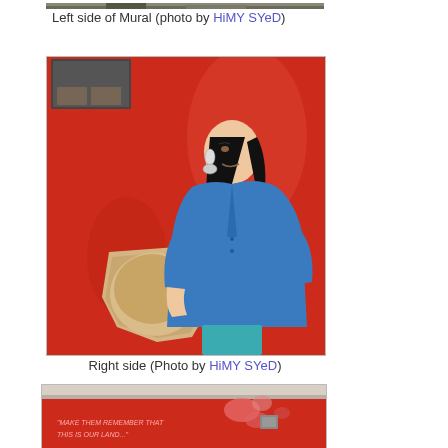[Figure (photo): Top portion of mural photo - left side of mural, partially cropped at top]
Left side of Mural (photo by HiMY SYeD)
[Figure (photo): Photo of right side of mural showing a woman in blue jacket playing a drum against a red background]
Right side (Photo by HiMY SYeD)
[Figure (photo): Bottom portion showing a mural with text 'Make them remember that this is our land...' on red background with floral designs]